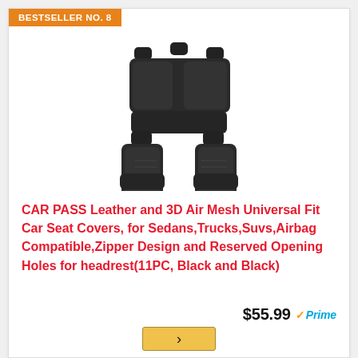BESTSELLER NO. 8
[Figure (photo): Set of black leather and 3D air mesh car seat covers arranged showing front and rear seats with headrests]
CAR PASS Leather and 3D Air Mesh Universal Fit Car Seat Covers, for Sedans,Trucks,Suvs,Airbag Compatible,Zipper Design and Reserved Opening Holes for headrest(11PC, Black and Black)
$55.99 Prime